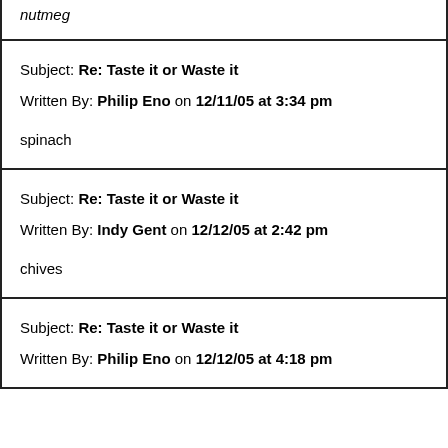nutmeg
Subject: Re: Taste it or Waste it
Written By: Philip Eno on 12/11/05 at 3:34 pm
spinach
Subject: Re: Taste it or Waste it
Written By: Indy Gent on 12/12/05 at 2:42 pm
chives
Subject: Re: Taste it or Waste it
Written By: Philip Eno on 12/12/05 at 4:18 pm